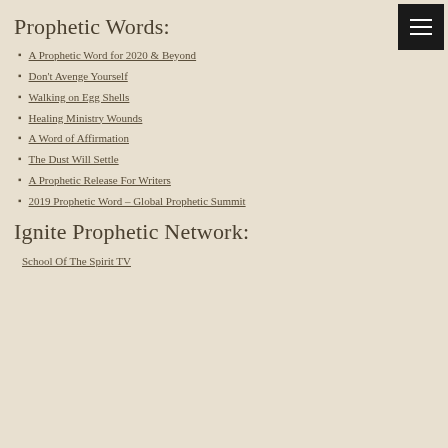Prophetic Words:
A Prophetic Word for 2020 & Beyond
Don't Avenge Yourself
Walking on Egg Shells
Healing Ministry Wounds
A Word of Affirmation
The Dust Will Settle
A Prophetic Release For Writers
2019 Prophetic Word – Global Prophetic Summit
Ignite Prophetic Network:
School Of The Spirit TV